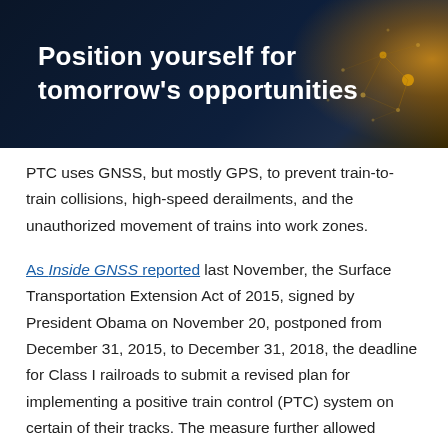[Figure (infographic): Dark navy blue banner with golden/orange radial glow and network dot pattern on the right side, containing white bold text: 'Position yourself for tomorrow's opportunities']
Position yourself for tomorrow's opportunities
PTC uses GNSS, but mostly GPS, to prevent train-to-train collisions, high-speed derailments, and the unauthorized movement of trains into work zones.
As Inside GNSS reported last November, the Surface Transportation Extension Act of 2015, signed by President Obama on November 20, postponed from December 31, 2015, to December 31, 2018, the deadline for Class I railroads to submit a revised plan for implementing a positive train control (PTC) system on certain of their tracks. The measure further allowed carriers to file an alternative schedule and sequence for implementing a PTC system, subject to